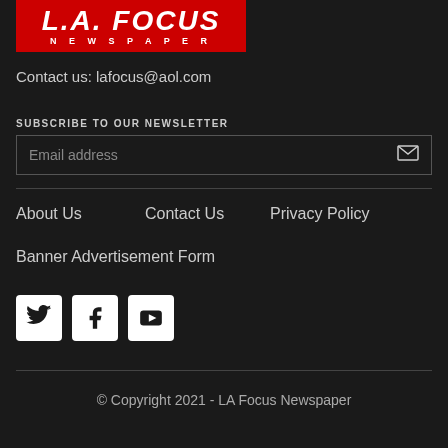[Figure (logo): L.A. FOCUS NEWSPAPER logo with white text on red background]
Contact us: lafocus@aol.com
SUBSCRIBE TO OUR NEWSLETTER
[Figure (infographic): Email address input field with envelope icon]
About Us
Contact Us
Privacy Policy
Banner Advertisement Form
[Figure (infographic): Social media icons: Twitter, Facebook, YouTube]
© Copyright 2021 - LA Focus Newspaper